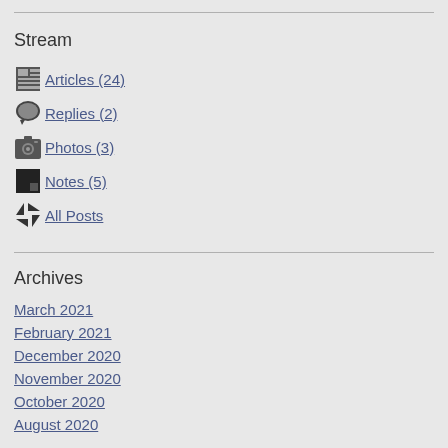Stream
Articles (24)
Replies (2)
Photos (3)
Notes (5)
All Posts
Archives
March 2021
February 2021
December 2020
November 2020
October 2020
August 2020